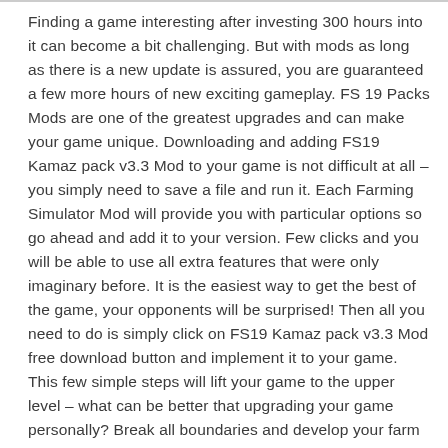Finding a game interesting after investing 300 hours into it can become a bit challenging. But with mods as long as there is a new update is assured, you are guaranteed a few more hours of new exciting gameplay. FS 19 Packs Mods are one of the greatest upgrades and can make your game unique. Downloading and adding FS19 Kamaz pack v3.3 Mod to your game is not difficult at all – you simply need to save a file and run it. Each Farming Simulator Mod will provide you with particular options so go ahead and add it to your version. Few clicks and you will be able to use all extra features that were only imaginary before. It is the easiest way to get the best of the game, your opponents will be surprised! Then all you need to do is simply click on FS19 Kamaz pack v3.3 Mod free download button and implement it to your game. This few simple steps will lift your game to the upper level – what can be better that upgrading your game personally? Break all boundaries and develop your farm easily. All of this is just the tip of the iceberg, what we offer on our website is countless